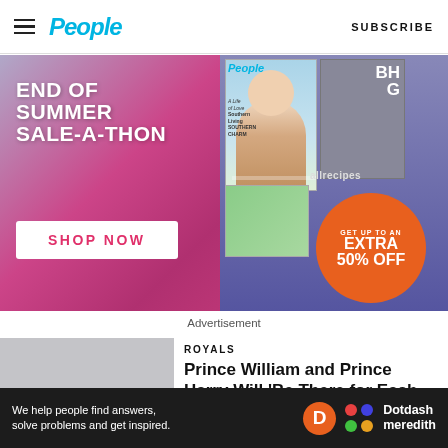People — SUBSCRIBE
[Figure (photo): End of Summer Sale-a-Thon advertisement for People magazine subscriptions. Left side shows pink/purple gradient with text 'END OF SUMMER SALE-A-THON' and a white 'SHOP NOW' button. Right side shows magazine covers (People, BHG, allrecipes) and an orange circle with 'GET UP TO AN EXTRA 50% OFF'.]
Advertisement
ROYALS
Prince William and Prince Harry Will 'Be There for Each
[Figure (photo): Gray placeholder thumbnail for article about Prince William and Prince Harry]
We help people find answers, solve problems and get inspired.
[Figure (logo): Dotdash Meredith logo — orange D circle, colorful dots icon, and Dotdash Meredith text]